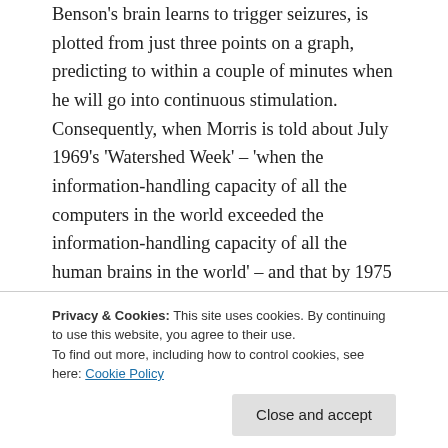Benson's brain learns to trigger seizures, is plotted from just three points on a graph, predicting to within a couple of minutes when he will go into continuous stimulation. Consequently, when Morris is told about July 1969's 'Watershed Week' – 'when the information-handling capacity of all the computers in the world exceeded the information-handling capacity of all the human brains in the world' – and that by 1975 computers will 'lead human beings by fifty to one in terms of capacity' (159-60), the novel succeeds in conveying a sense of menace. This is achieved by conflating a not unreasonable prediction of quantitative change with
Privacy & Cookies: This site uses cookies. By continuing to use this website, you agree to their use.
To find out more, including how to control cookies, see here: Cookie Policy
such linear determinism seeps out into Crichton's